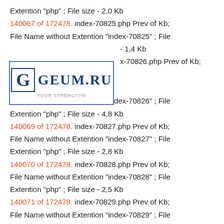Extention "php" ; File size - 2,0 Kb
140067 of 172478. index-70825.php Prev of Kb;
File Name without Extention "index-70825" ; File
[Figure (logo): GEUM.RU logo with letter G in a box and tagline YOUR STRENGTHS]
- 1,4 Kb
x-70826.php Prev of Kb;
File Name without Extention "index-70826" ; File
Extention "php" ; File size - 4,8 Kb
140069 of 172478. index-70827.php Prev of Kb;
File Name without Extention "index-70827" ; File
Extention "php" ; File size - 2,8 Kb
140070 of 172478. index-70828.php Prev of Kb;
File Name without Extention "index-70828" ; File
Extention "php" ; File size - 2,5 Kb
140071 of 172478. index-70829.php Prev of Kb;
File Name without Extention "index-70829" ; File
Extention "php" ; File size - 2,5 Kb